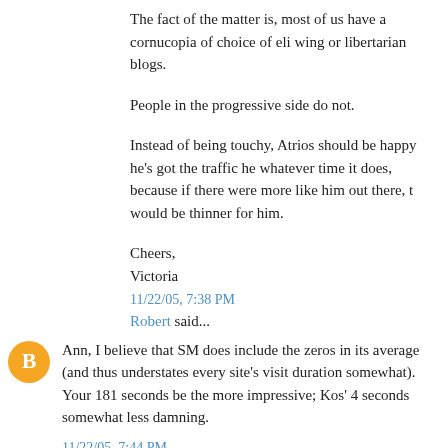The fact of the matter is, most of us have a cornucopia of choice of eli wing or libertarian blogs.
People in the progressive side do not.
Instead of being touchy, Atrios should be happy he's got the traffic he whatever time it does, because if there were more like him out there, t would be thinner for him.
Cheers,
Victoria
11/22/05, 7:38 PM
Robert said...
Ann, I believe that SM does include the zeros in its average (and thus understates every site's visit duration somewhat). Your 181 seconds be the more impressive; Kos' 4 seconds somewhat less damning.
11/22/05, 7:44 PM